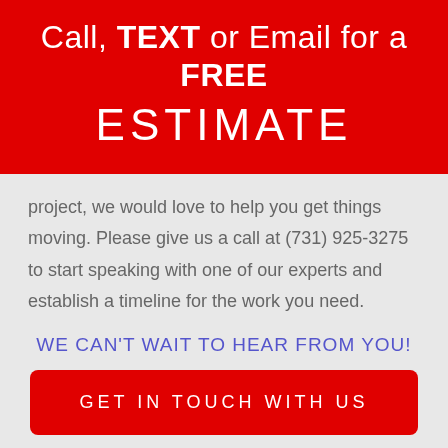Call, TEXT or Email for a FREE ESTIMATE
project, we would love to help you get things moving. Please give us a call at (731) 925-3275 to start speaking with one of our experts and establish a timeline for the work you need.
WE CAN'T WAIT TO HEAR FROM YOU!
GET IN TOUCH WITH US
ADDRESS:
SAVANNAH TN 38372
ANNOUNCEMENT